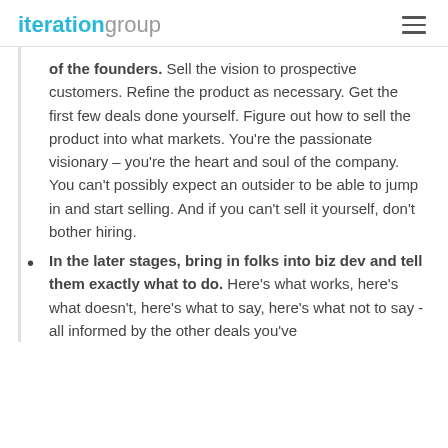iteration group
of the founders.  Sell the vision to prospective customers.  Refine the product as necessary.  Get the first few deals done yourself.  Figure out how to sell the product into what markets.  You're the passionate visionary – you're the heart and soul of the company.  You can't possibly expect an outsider to be able to jump in and start selling.  And if you can't sell it yourself, don't bother hiring.
In the later stages, bring in folks into biz dev and tell them exactly what to do.  Here's what works, here's what doesn't, here's what to say, here's what not to say - all informed by the other deals you've